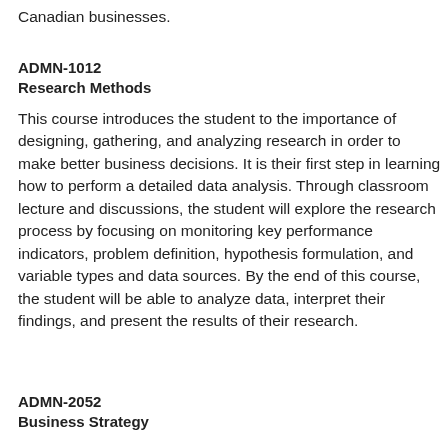Canadian businesses.
ADMN-1012
Research Methods
This course introduces the student to the importance of designing, gathering, and analyzing research in order to make better business decisions. It is their first step in learning how to perform a detailed data analysis. Through classroom lecture and discussions, the student will explore the research process by focusing on monitoring key performance indicators, problem definition, hypothesis formulation, and variable types and data sources. By the end of this course, the student will be able to analyze data, interpret their findings, and present the results of their research.
ADMN-2052
Business Strategy